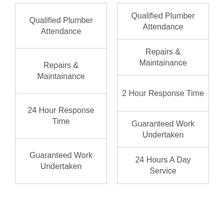| Qualified Plumber Attendance |
| Repairs & Maintainance |
| 24 Hour Response Time |
| Guaranteed Work Undertaken |
| Qualified Plumber Attendance |
| Repairs & Maintainance |
| 2 Hour Response Time |
| Guaranteed Work Undertaken |
| 24 Hours A Day Service |